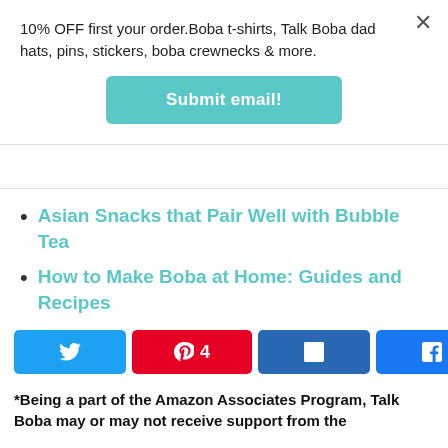10% OFF first your order.Boba t-shirts, Talk Boba dad hats, pins, stickers, boba crewnecks & more.
Submit email!
Asian Snacks that Pair Well with Bubble Tea
How to Make Boba at Home: Guides and Recipes
4 SHARES
*Being a part of the Amazon Associates Program, Talk Boba may or may not receive support from the